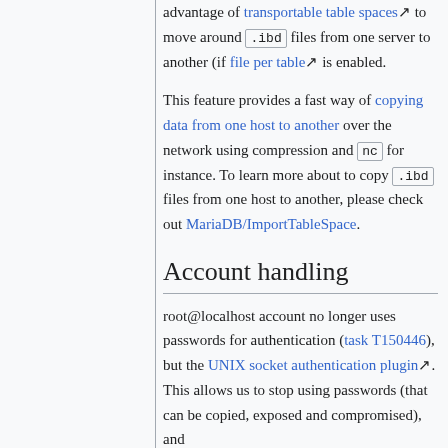advantage of transportable table spaces to move around .ibd files from one server to another (if file per table is enabled.
This feature provides a fast way of copying data from one host to another over the network using compression and nc for instance. To learn more about to copy .ibd files from one host to another, please check out MariaDB/ImportTableSpace.
Account handling
root@localhost account no longer uses passwords for authentication (task T150446), but the UNIX socket authentication plugin. This allows us to stop using passwords (that can be copied, exposed and compromised), and